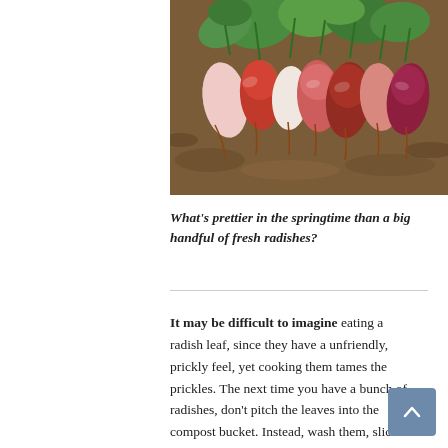[Figure (photo): A bunch of freshly harvested radishes with green tops, displayed on soil/mulch. The radishes are pink/red and white in color.]
What’s prettier in the springtime than a big handful of fresh radishes?
It may be difficult to imagine eating a radish leaf, since they have a unfriendly, prickly feel, yet cooking them tames the prickles. The next time you have a bunch of radishes, don’t pitch the leaves into the compost bucket. Instead, wash them, slice them up quickly and saute them in olive oil, with a bit of smashed and diced